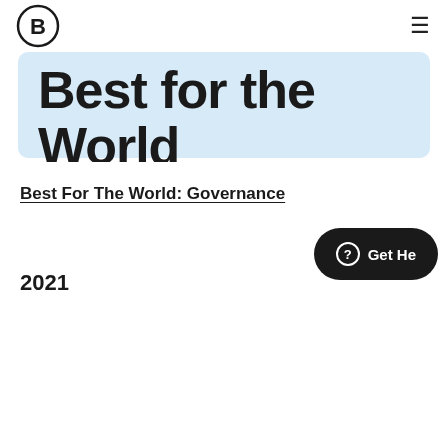B Lab logo and navigation
Best for the World
Every year, B Lab recognizes the B Corps that have achieved the highest verified scores in the five impact areas evaluated on the B Impact Assessment.
Best For The World: Governance
2021